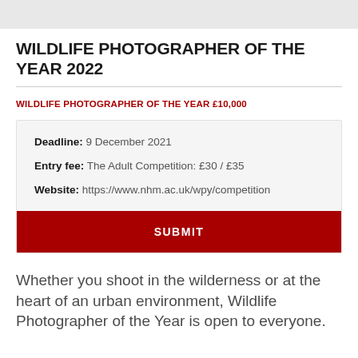[Figure (other): Gray horizontal bar at the top of the page]
WILDLIFE PHOTOGRAPHER OF THE YEAR 2022
WILDLIFE PHOTOGRAPHER OF THE YEAR £10,000
Deadline: 9 December 2021
Entry fee: The Adult Competition: £30 / £35
Website: https://www.nhm.ac.uk/wpy/competition
SUBMIT
Whether you shoot in the wilderness or at the heart of an urban environment, Wildlife Photographer of the Year is open to everyone.